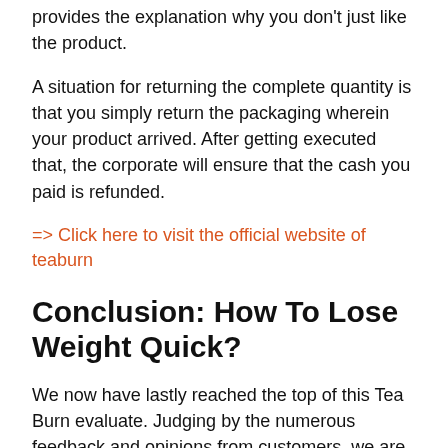provides the explanation why you don't just like the product.
A situation for returning the complete quantity is that you simply return the packaging wherein your product arrived. After getting executed that, the corporate will ensure that the cash you paid is refunded.
=> Click here to visit the official website of teaburn
Conclusion: How To Lose Weight Quick?
We now have lastly reached the top of this Tea Burn evaluate. Judging by the numerous feedback and opinions from customers, we are able to say that Tea Burn is a very fashionable product amongst customers. As well as, we didn't discover any feedback suggesting